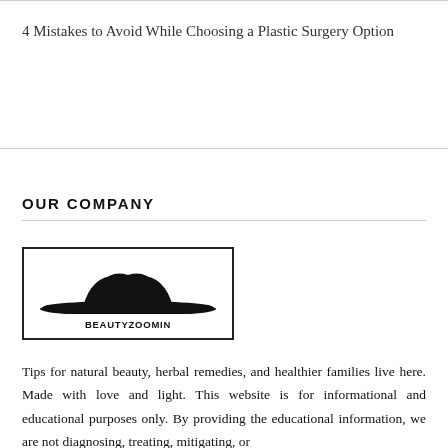4 Mistakes to Avoid While Choosing a Plastic Surgery Option
OUR COMPANY
[Figure (logo): BeautyZoomin logo: a black wide-brimmed hat silhouette above the text BEAUTYZOOMIN, enclosed in a rectangular border]
Tips for natural beauty, herbal remedies, and healthier families live here. Made with love and light. This website is for informational and educational purposes only. By providing the educational information, we are not diagnosing, treating, mitigating, or